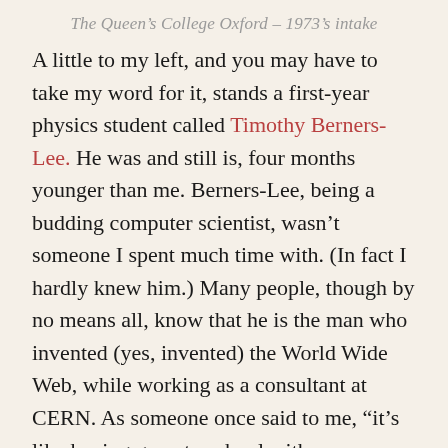The Queen's College Oxford – 1973's intake
A little to my left, and you may have to take my word for it, stands a first-year physics student called Timothy Berners-Lee. He was and still is, four months younger than me. Berners-Lee, being a budding computer scientist, wasn't someone I spent much time with. (In fact I hardly knew him.) Many people, though by no means all, know that he is the man who invented (yes, invented) the World Wide Web, while working as a consultant at CERN. As someone once said to me, “it’s like having gone to school with Gutenberg”. Gutenberg didn’t make any money from his invention and Berners-Lee, although far from poor, is no billionaire, though he